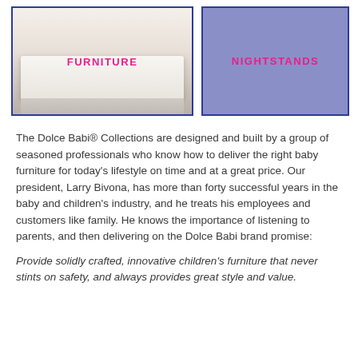[Figure (photo): Photo of woman with baby on white furniture with FURNITURE label]
[Figure (illustration): Purple/lavender box with NIGHTSTANDS label]
The Dolce Babi® Collections are designed and built by a group of seasoned professionals who know how to deliver the right baby furniture for today's lifestyle on time and at a great price. Our president, Larry Bivona, has more than forty successful years in the baby and children's industry, and he treats his employees and customers like family. He knows the importance of listening to parents, and then delivering on the Dolce Babi brand promise:
Provide solidly crafted, innovative children's furniture that never stints on safety, and always provides great style and value.